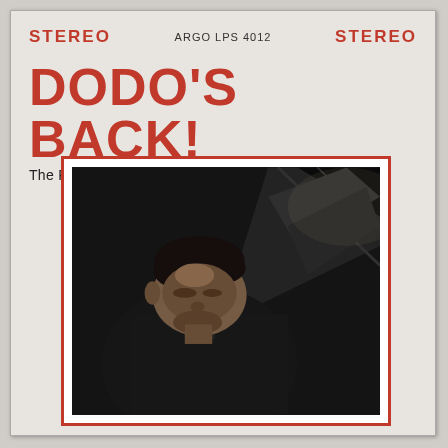STEREO   ARGO LPS 4012   STEREO
DODO'S BACK!
The Return Of Dodo Marmarosa, A Brilliant Jazz Pianist
[Figure (photo): Black and white photograph of Dodo Marmarosa, a jazz pianist, leaning over a piano with his head bowed, viewed from above and to the side. The image is framed within a red border on a white mat.]